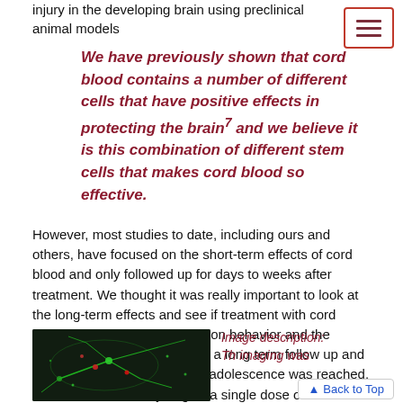injury in the developing brain using preclinical animal models
We have previously shown that cord blood contains a number of different cells that have positive effects in protecting the brain⁷ and we believe it is this combination of different stem cells that makes cord blood so effective.
However, most studies to date, including ours and others, have focused on the short-term effects of cord blood and only followed up for days to weeks after treatment. We thought it was really important to look at the long-term effects and see if treatment with cord blood had long lasting effects on behavior and the brain. We decided to perform a long term follow up and assessed these effects when adolescence was reached. We found that when you give a single dose of cord blood shortly after brain injury, the long term behavioural improvement is maintained, but significant injury to the brain still occurs⁸.
[Figure (photo): Fluorescence microscopy image of neural cells/neurons with green fluorescent markers against a dark background, showing dendritic branches and soma with red spots.]
Image description: Th imaging was